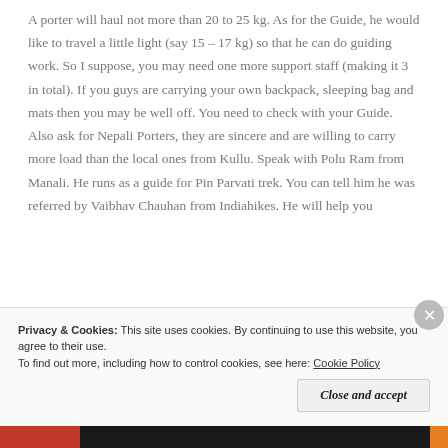A porter will haul not more than 20 to 25 kg. As for the Guide, he would like to travel a little light (say 15 – 17 kg) so that he can do guiding work. So I suppose, you may need one more support staff (making it 3 in total). If you guys are carrying your own backpack, sleeping bag and mats then you may be well off. You need to check with your Guide. Also ask for Nepali Porters, they are sincere and are willing to carry more load than the local ones from Kullu. Speak with Polu Ram from Manali. He runs as a guide for Pin Parvati trek. You can tell him he was referred by Vaibhav Chauhan from Indiahikes. He will help you
Privacy & Cookies: This site uses cookies. By continuing to use this website, you agree to their use.
To find out more, including how to control cookies, see here: Cookie Policy
Close and accept